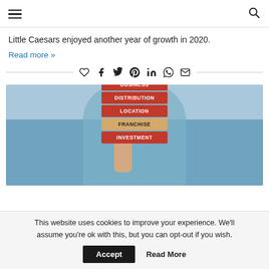Navigation header with hamburger menu and search icon
Little Caesars enjoyed another year of growth in 2020.
Read more »
[Figure (photo): Person in blue shirt holding stacked red and tan wooden blocks labeled BUSINESS, DISTRIBUTION, LOCATION, FRANCHISE, INVESTMENT from top to bottom]
This website uses cookies to improve your experience. We'll assume you're ok with this, but you can opt-out if you wish. Accept  Read More